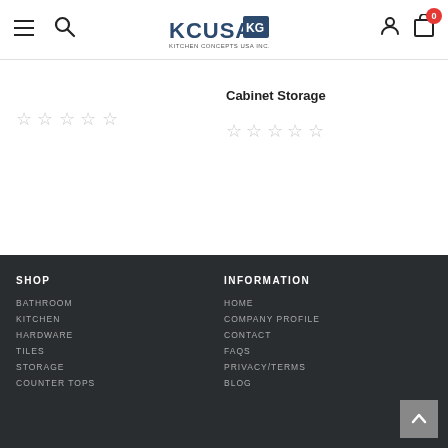KCUSA Kitchen Concepts USA Inc. — navigation header with menu, search, logo, user icon, cart (0)
★★★★★ (empty stars rating — left product)
Cabinet Storage
★★★★★ (empty stars rating — Cabinet Storage)
SHOP: BATHROOM, KITCHEN, HARDWARE, TILES, STORAGE, COUNTER TOPS | INFORMATION: HOME, COMPANY PROFILE, CONTACT, FAQS, PRIVACY/TERMS, BLOG